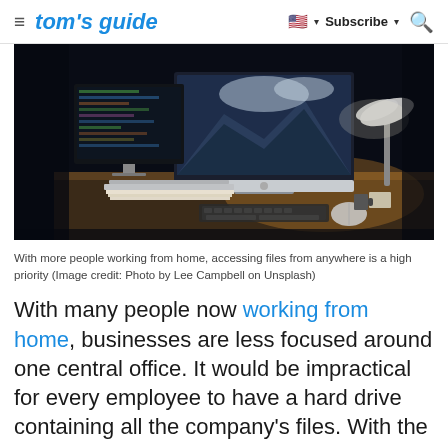tom's guide  |  Subscribe  🔍
[Figure (photo): Dark home office desk scene with two monitors (one iMac showing mountain wallpaper, one with code), a laptop, keyboard, mouse, desk lamp illuminating the workspace, and scattered papers/documents. Photo by Lee Campbell on Unsplash.]
With more people working from home, accessing files from anywhere is a high priority (Image credit: Photo by Lee Campbell on Unsplash)
With many people now working from home, businesses are less focused around one central office. It would be impractical for every employee to have a hard drive containing all the company's files. With the business's documents on a cloud server, you